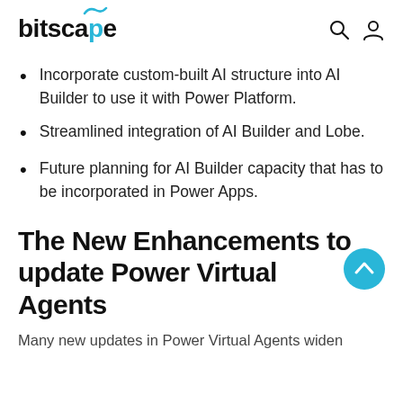bitscape
Incorporate custom-built AI structure into AI Builder to use it with Power Platform.
Streamlined integration of AI Builder and Lobe.
Future planning for AI Builder capacity that has to be incorporated in Power Apps.
The New Enhancements to update Power Virtual Agents
Many new updates in Power Virtual Agents widen